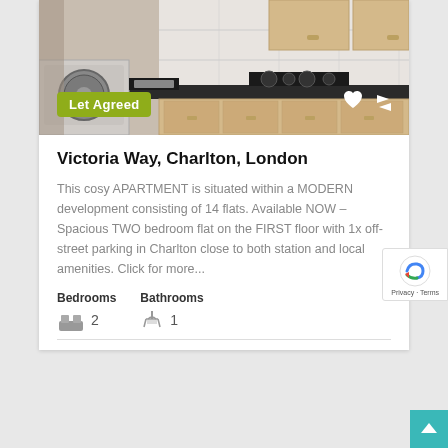[Figure (photo): Kitchen interior of a flat showing washing machine, kitchen cabinets, dark countertop, and hob. Has a 'Let Agreed' badge overlay.]
Victoria Way, Charlton, London
This cosy APARTMENT is situated within a MODERN development consisting of 14 flats. Available NOW – Spacious TWO bedroom flat on the FIRST floor with 1x off-street parking in Charlton close to both station and local amenities. Click for more...
Bedrooms 2   Bathrooms 1